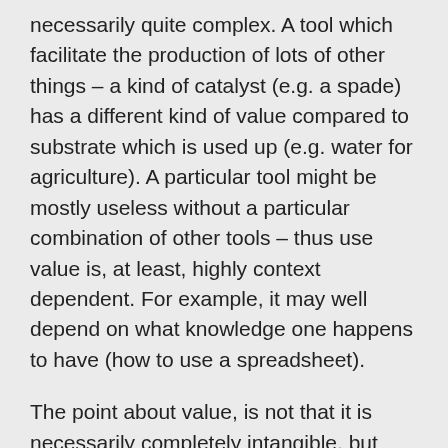necessarily quite complex. A tool which facilitate the production of lots of other things – a kind of catalyst (e.g. a spade) has a different kind of value compared to substrate which is used up (e.g. water for agriculture). A particular tool might be mostly useless without a particular combination of other tools – thus use value is, at least, highly context dependent. For example, it may well depend on what knowledge one happens to have (how to use a spreadsheet).
The point about value, is not that it is necessarily completely intangible, but might be an emergent feature, coming from other features, when one considers...